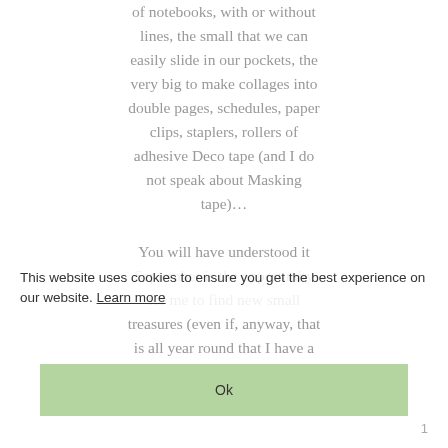of notebooks, with or without lines, the small that we can easily slide in our pockets, the very big to make collages into double pages, schedules, paper clips, staplers, rollers of adhesive Deco tape (and I do not speak about Masking tape)…
You will have understood it September is the opportunity for me to find new small treasures (even if, anyway, that is all year round that I have a walk in the stationery departments)
This website uses cookies to ensure you get the best experience on our website. Learn more
Ok
1